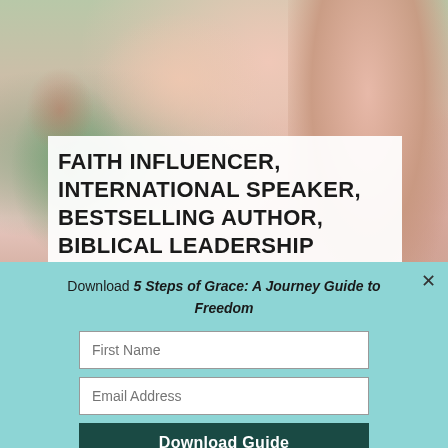[Figure (photo): Photo of a woman with long blonde wavy hair wearing a floral jacket over a pink top, cropped to show torso and partial face]
FAITH INFLUENCER, INTERNATIONAL SPEAKER, BESTSELLING AUTHOR, BIBLICAL LEADERSHIP
[Figure (infographic): Social media icons: Facebook, Twitter, Instagram, YouTube]
Download 5 Steps of Grace: A Journey Guide to Freedom
First Name
Email Address
Download Guide